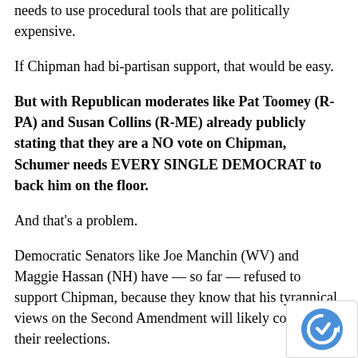needs to use procedural tools that are politically expensive.
If Chipman had bi-partisan support, that would be easy.
But with Republican moderates like Pat Toomey (R-PA) and Susan Collins (R-ME) already publicly stating that they are a NO vote on Chipman, Schumer needs EVERY SINGLE DEMOCRAT to back him on the floor.
And that’s a problem.
Democratic Senators like Joe Manchin (WV) and Maggie Hassan (NH) have — so far — refused to support Chipman, because they know that his tyrannical views on the Second Amendment will likely cost them their reelections.